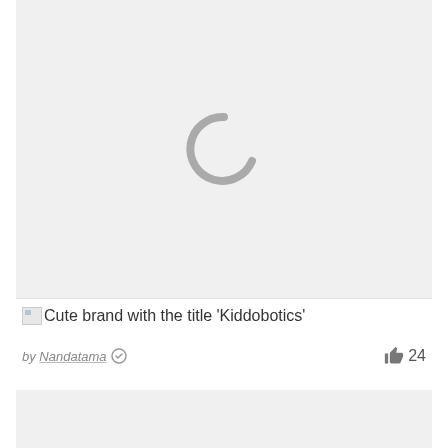[Figure (illustration): Loading spinner / broken image placeholder showing a large grey letter C (loading indicator) centered on a light grey background]
Cute brand with the title 'Kiddobotics'
by Nandatama  24
[Figure (illustration): Second image card placeholder with light grey background, partially visible at bottom of page]